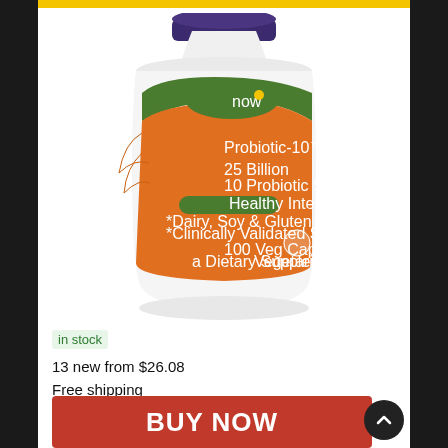[Figure (photo): NOW Foods Probiotic-10 25 Billion supplement bottle with orange label, 100 Veg Capsules, 10 Probiotic Strains, Healthy Intestinal Flora, Dairy Soy & Gluten Free, Clinically Validated Strains, Vegetarian/Vegan]
in stock
13 new from $26.08
Free shipping
BUY NOW